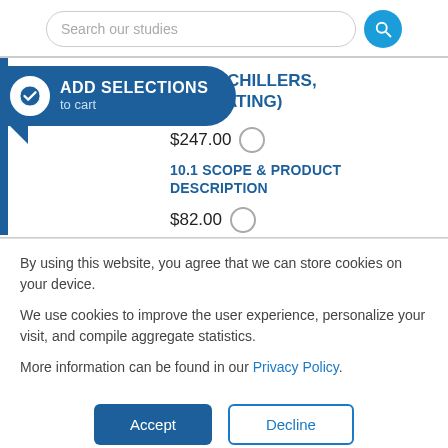[Figure (screenshot): Search bar with text 'Search our studies' and a blue circular search icon button]
[Figure (infographic): Blue 'ADD SELECTIONS to cart' bubble with checkmark circle, overlapping product section]
UIPMENT (CHILLERS, , ZONE HEATING)
$247.00
10.1 SCOPE & PRODUCT DESCRIPTION
$82.00
By using this website, you agree that we can store cookies on your device.
We use cookies to improve the user experience, personalize your visit, and compile aggregate statistics.
More information can be found in our Privacy Policy.
[Figure (screenshot): Accept and Decline buttons for cookie consent]